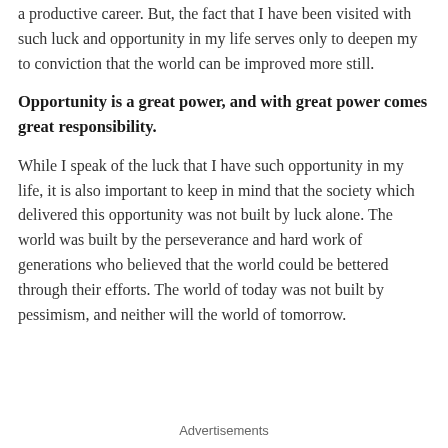a productive career. But, the fact that I have been visited with such luck and opportunity in my life serves only to deepen my to conviction that the world can be improved more still.
Opportunity is a great power, and with great power comes great responsibility.
While I speak of the luck that I have such opportunity in my life, it is also important to keep in mind that the society which delivered this opportunity was not built by luck alone. The world was built by the perseverance and hard work of generations who believed that the world could be bettered through their efforts. The world of today was not built by pessimism, and neither will the world of tomorrow.
Advertisements